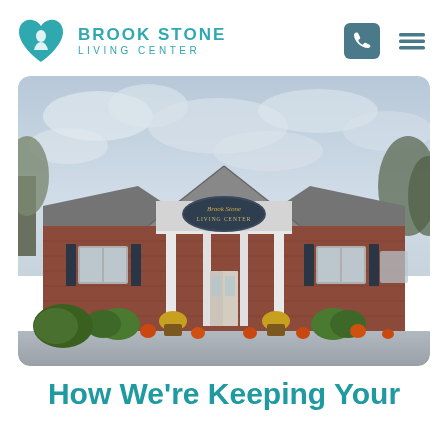Brook Stone Living Center
[Figure (photo): Exterior photograph of Brook Stone Living Center building — a single-story brick building with a white portico entrance, metal roof, dark shuttered windows, and decorative plants and pumpkins at the entrance. Sign reads Brook Stone Living Center above the entrance.]
How We're Keeping Your